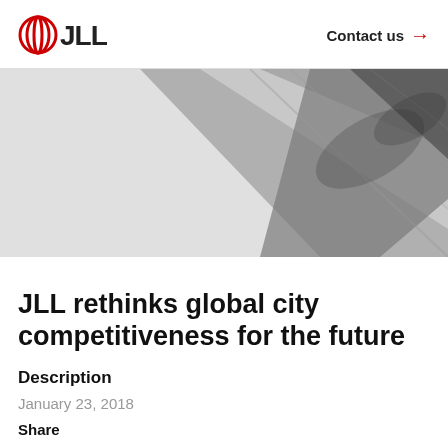JLL | Contact us →
[Figure (photo): Aerial or architectural photograph showing a dark angular corner of a building or urban surface with grey tones]
JLL rethinks global city competitiveness for the future
Description
January 23, 2018
Share